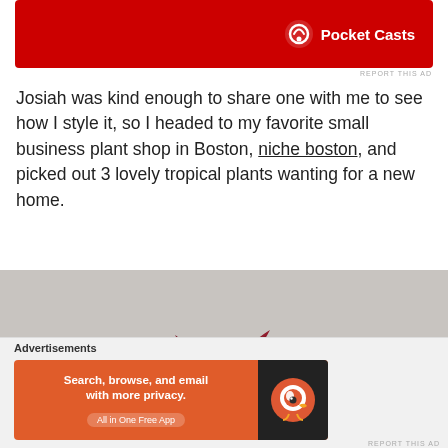[Figure (photo): Pocket Casts advertisement banner with red background and logo]
REPORT THIS AD
Josiah was kind enough to share one with me to see how I style it, so I headed to my favorite small business plant shop in Boston, niche boston, and picked out 3 lovely tropical plants wanting for a new home.
[Figure (photo): Close-up photo of tropical plants including red/purple-leafed plant and green fern-like plant against a gray background]
Advertisements
[Figure (photo): DuckDuckGo advertisement: Search, browse, and email with more privacy. All in One Free App]